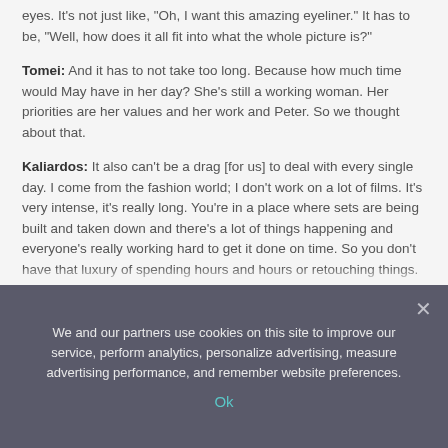eyes. It's not just like, "Oh, I want this amazing eyeliner." It has to be, "Well, how does it all fit into what the whole picture is?"
Tomei: And it has to not take too long. Because how much time would May have in her day? She's still a working woman. Her priorities are her values and her work and Peter. So we thought about that.
Kaliardos: It also can't be a drag [for us] to deal with every single day. I come from the fashion world; I don't work on a lot of films. It's very intense, it's really long. You're in a place where sets are being built and taken down and there's a lot of things happening and everyone's really working hard to get it done on time. So you don't have that luxury of spending hours and hours or retouching things. Sometimes we have very little time to do a change or to do the makeup, so you have to come up with something that can be done and continued and matched all the time. But because we
We and our partners use cookies on this site to improve our service, perform analytics, personalize advertising, measure advertising performance, and remember website preferences.
Ok